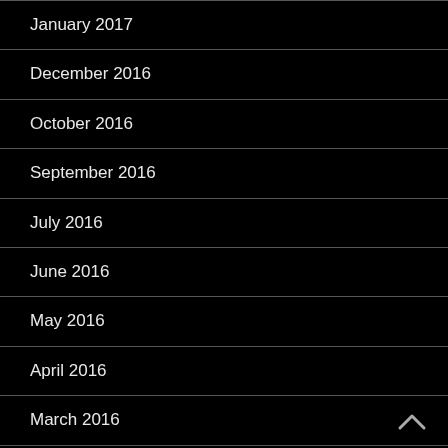January 2017
December 2016
October 2016
September 2016
July 2016
June 2016
May 2016
April 2016
March 2016
February 2016
December 2015